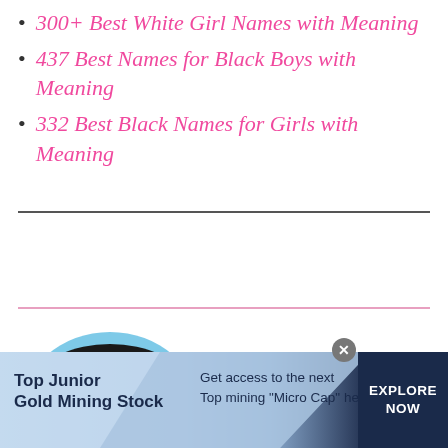300+ Best White Girl Names with Meaning
437 Best Names for Black Boys with Meaning
332 Best Black Names for Girls with Meaning
[Figure (photo): Partial photo of a person's face, circular crop, dark hair, light blue background]
[Figure (infographic): Advertisement banner: Top Junior Gold Mining Stock — Get access to the next Top mining Micro Cap here! — EXPLORE NOW button]